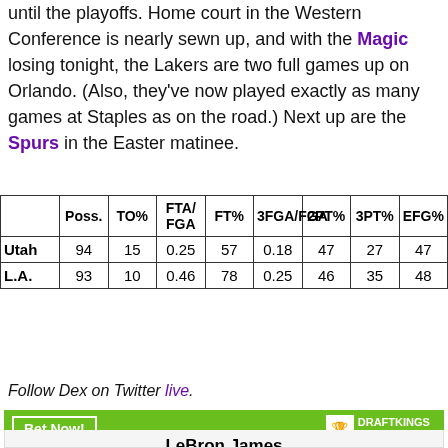until the playoffs. Home court in the Western Conference is nearly sewn up, and with the Magic losing tonight, the Lakers are two full games up on Orlando. (Also, they've now played exactly as many games at Staples as on the road.) Next up are the Spurs in the Easter matinee.
|  | Poss. | TO% | FTA/FGA | FT% | 3FGA/FGA | 2PT% | 3PT% | EFG% |
| --- | --- | --- | --- | --- | --- | --- | --- | --- |
| Utah | 94 | 15 | 0.25 | 57 | 0.18 | 47 | 27 | 47 |
| L.A. | 93 | 10 | 0.46 | 78 | 0.25 | 46 | 35 | 48 |
Follow Dex on Twitter live.